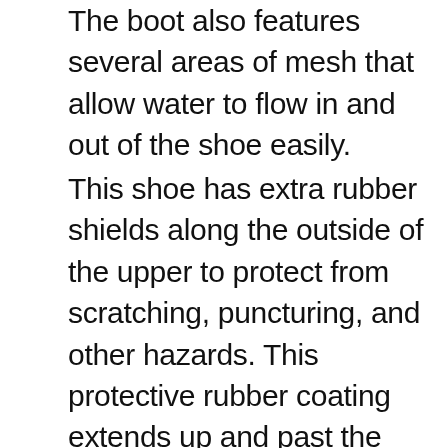The boot also features several areas of mesh that allow water to flow in and out of the shoe easily.
This shoe has extra rubber shields along the outside of the upper to protect from scratching, puncturing, and other hazards. This protective rubber coating extends up and past the rubber midsole and onto the microfiber upper itself. The layer is located around the toe and heel area, in places where damage is more likely to happen to the shoe. This results in a longer-lived product.